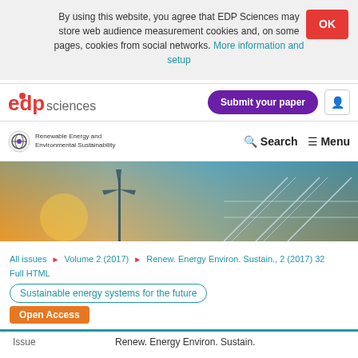By using this website, you agree that EDP Sciences may store web audience measurement cookies and, on some pages, cookies from social networks. More information and setup
[Figure (logo): EDP Sciences logo with red edp text and grey sciences text]
Submit your paper
[Figure (logo): Renewable Energy and Environmental Sustainability journal logo with globe icon]
Search   Menu
[Figure (photo): Hero image with wind turbine and solar panels at sunset]
All issues ▶ Volume 2 (2017) ▶ Renew. Energy Environ. Sustain., 2 (2017) 32 ▶ Full HTML
Sustainable energy systems for the future
Open Access
| Issue |  |
| --- | --- |
| Issue | Renew. Energy Environ. Sustain. |